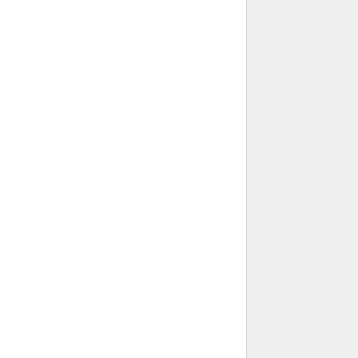algorithm built into the air protocol, the airFiber radios use breakthrough HDD technology to